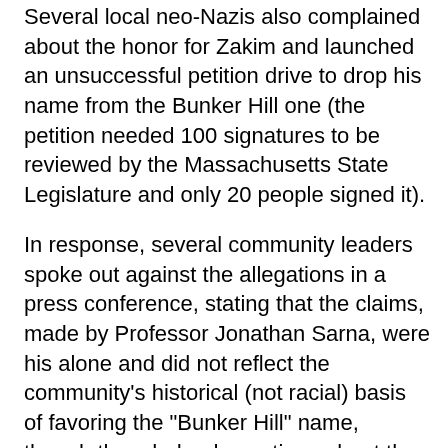Several local neo-Nazis also complained about the honor for Zakim and launched an unsuccessful petition drive to drop his name from the Bunker Hill one (the petition needed 100 signatures to be reviewed by the Massachusetts State Legislature and only 20 people signed it).
In response, several community leaders spoke out against the allegations in a press conference, stating that the claims, made by Professor Jonathan Sarna, were his alone and did not reflect the community's historical (not racial) basis of favoring the "Bunker Hill" name, though they dodged questions about the false claim that no Jews had fought in the battle of Bunker Hill.
Eventually a compromise between the Boston City Council, the Massachusetts State Legislature and community activists brought about the current name. As with the Hoover Dam, different communities call the bridge by different colloquial names.